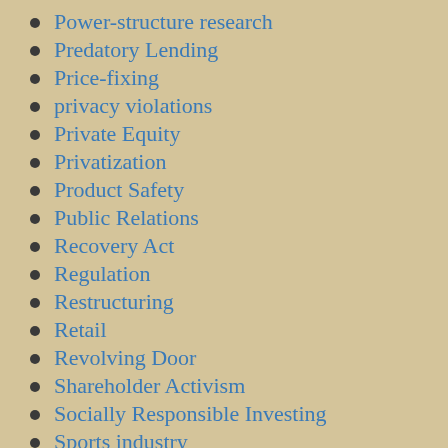Power-structure research
Predatory Lending
Price-fixing
privacy violations
Private Equity
Privatization
Product Safety
Public Relations
Recovery Act
Regulation
Restructuring
Retail
Revolving Door
Shareholder Activism
Socially Responsible Investing
Sports industry